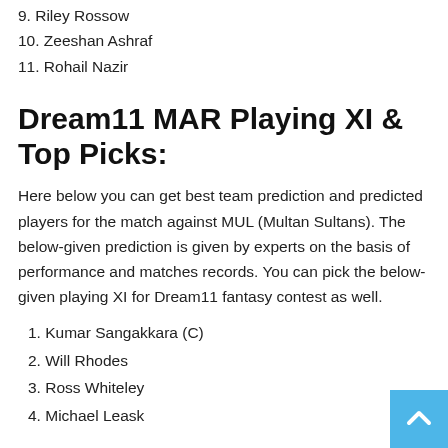9. Riley Rossow
10. Zeeshan Ashraf
11. Rohail Nazir
Dream11 MAR Playing XI & Top Picks:
Here below you can get best team prediction and predicted players for the match against MUL (Multan Sultans). The below-given prediction is given by experts on the basis of performance and matches records. You can pick the below-given playing XI for Dream11 fantasy contest as well.
1. Kumar Sangakkara (C)
2. Will Rhodes
3. Ross Whiteley
4. Michael Leask